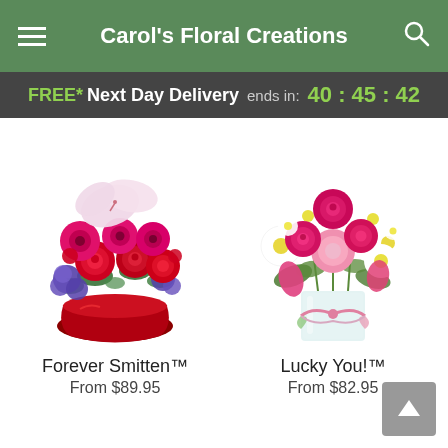Carol's Floral Creations
FREE* Next Day Delivery ends in: 40 : 45 : 42
[Figure (photo): Floral arrangement called Forever Smitten in a round red vase with red roses, pink lilies, fuchsia gerberas, and purple flowers]
Forever Smitten™
From $89.95
[Figure (photo): Floral arrangement called Lucky You in a clear glass vase with pink roses, white daisies, pink carnations, and a colorful bow]
Lucky You!™
From $82.95